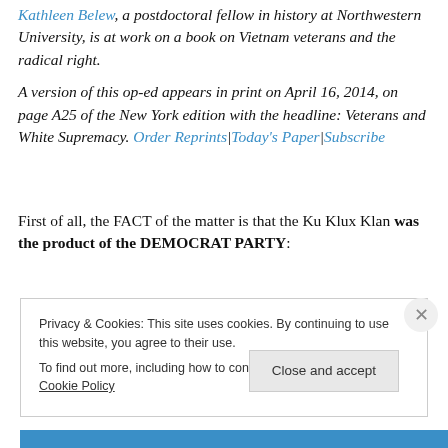Kathleen Belew, a postdoctoral fellow in history at Northwestern University, is at work on a book on Vietnam veterans and the radical right.
A version of this op-ed appears in print on April 16, 2014, on page A25 of the New York edition with the headline: Veterans and White Supremacy. Order Reprints|Today's Paper|Subscribe
First of all, the FACT of the matter is that the Ku Klux Klan was the product of the DEMOCRAT PARTY:
Privacy & Cookies: This site uses cookies. By continuing to use this website, you agree to their use. To find out more, including how to control cookies, see here: Cookie Policy
Close and accept